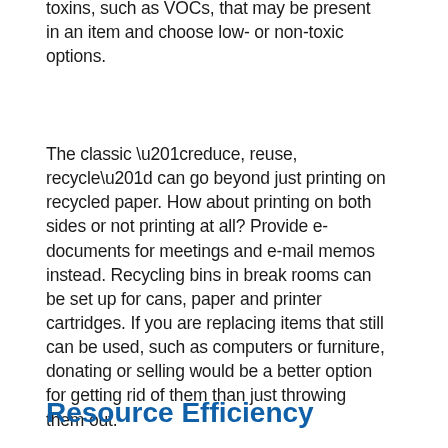toxins, such as VOCs, that may be present in an item and choose low- or non-toxic options.
The classic “reduce, reuse, recycle” can go beyond just printing on recycled paper. How about printing on both sides or not printing at all? Provide e-documents for meetings and e-mail memos instead. Recycling bins in break rooms can be set up for cans, paper and printer cartridges. If you are replacing items that still can be used, such as computers or furniture, donating or selling would be a better option for getting rid of them than just throwing them out.
Resource Efficiency